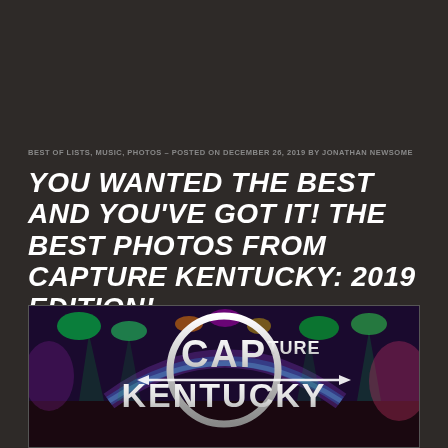BEST OF LISTS, MUSIC, PHOTOS – POSTED ON DECEMBER 26, 2019 BY JONATHAN NEWSOME
YOU WANTED THE BEST AND YOU'VE GOT IT! THE BEST PHOTOS FROM CAPTURE KENTUCKY: 2019 EDITION!
[Figure (logo): Capture Kentucky logo — a circular chrome badge with the words CAPTURE KENTUCKY and an arrow, overlaid on a concert stage with colorful lights]